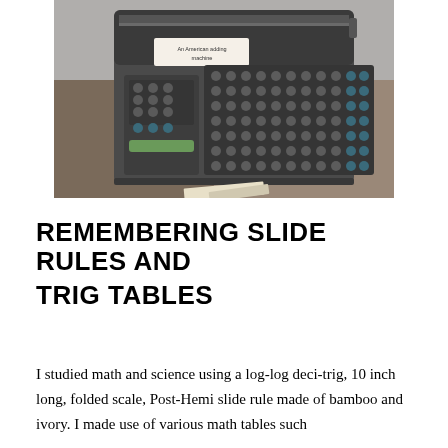[Figure (photo): Photograph of an American adding machine (mechanical calculator) placed on a desk, viewed from above. A small label reads 'An American adding machine'. The machine has a grid of round keys and is dark grey/black in color.]
REMEMBERING SLIDE RULES AND TRIG TABLES
I studied math and science using a log-log deci-trig, 10 inch long, folded scale, Post-Hemi slide rule made of bamboo and ivory. I made use of various math tables such